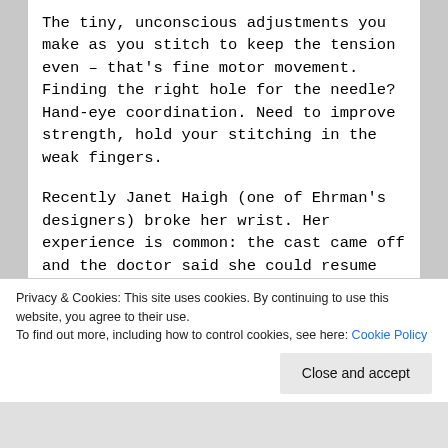The tiny, unconscious adjustments you make as you stitch to keep the tension even – that's fine motor movement. Finding the right hole for the needle? Hand-eye coordination. Need to improve strength, hold your stitching in the weak fingers.
Recently Janet Haigh (one of Ehrman's designers) broke her wrist. Her experience is common: the cast came off and the doctor said she could resume 'normal activity.' But the weeks of enforced stillness had left the wrist weak. To recover, Janet...
Privacy & Cookies: This site uses cookies. By continuing to use this website, you agree to their use.
To find out more, including how to control cookies, see here: Cookie Policy
Close and accept